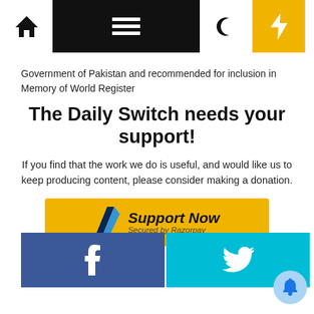Navigation bar with home, menu, moon, bolt, search icons
Government of Pakistan and recommended for inclusion in Memory of World Register
The Daily Switch needs your support!
If you find that the work we do is useful, and would like us to keep producing content, please consider making a donation.
[Figure (other): Support Now button secured by Razorpay with yellow background]
[Figure (other): Social share buttons: Facebook (blue) and Twitter (cyan)]